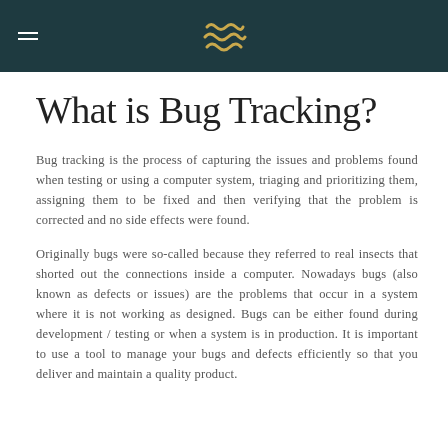What is Bug Tracking?
Bug tracking is the process of capturing the issues and problems found when testing or using a computer system, triaging and prioritizing them, assigning them to be fixed and then verifying that the problem is corrected and no side effects were found.
Originally bugs were so-called because they referred to real insects that shorted out the connections inside a computer. Nowadays bugs (also known as defects or issues) are the problems that occur in a system where it is not working as designed. Bugs can be either found during development / testing or when a system is in production. It is important to use a tool to manage your bugs and defects efficiently so that you deliver and maintain a quality product.